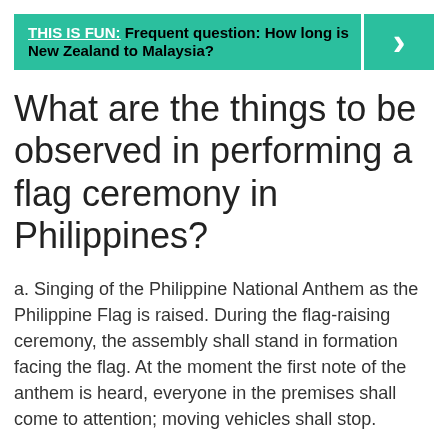[Figure (infographic): Teal/green banner with text 'THIS IS FUN: Frequent question: How long is New Zealand to Malaysia?' and a right-arrow icon on the right side]
What are the things to be observed in performing a flag ceremony in Philippines?
a. Singing of the Philippine National Anthem as the Philippine Flag is raised. During the flag-raising ceremony, the assembly shall stand in formation facing the flag. At the moment the first note of the anthem is heard, everyone in the premises shall come to attention; moving vehicles shall stop.